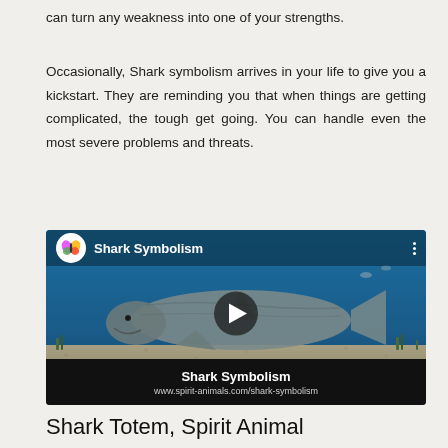can turn any weakness into one of your strengths.
Occasionally, Shark symbolism arrives in your life to give you a kickstart. They are reminding you that when things are getting complicated, the tough get going. You can handle even the most severe problems and threats.
[Figure (screenshot): YouTube video thumbnail for 'Shark Symbolism' showing a shark swimming underwater with a play button overlay, a butterfly logo in the top-left, and the title 'Shark Symbolism' with the URL www.spirit-animals.com/shark-symbolism in the bottom bar.]
Shark Totem, Spirit Animal